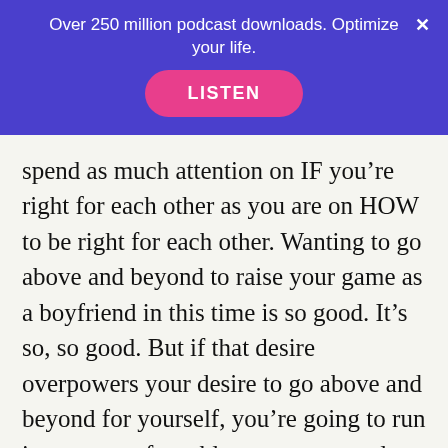Over 250 million podcast downloads. Optimize your life.
spend as much attention on IF you’re right for each other as you are on HOW to be right for each other. Wanting to go above and beyond to raise your game as a boyfriend in this time is so good. It’s so, so good. But if that desire overpowers your desire to go above and beyond for yourself, you’re going to run into a spot of trouble, as many people do that are madly in love with their partners.